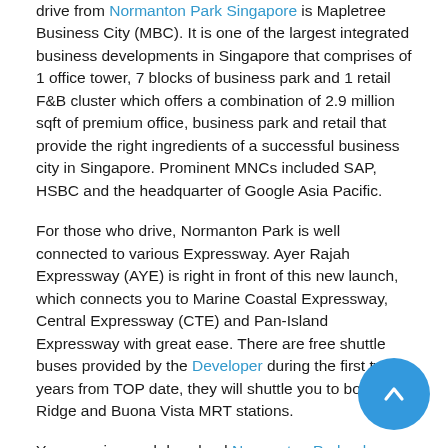drive from Normanton Park Singapore is Mapletree Business City (MBC). It is one of the largest integrated business developments in Singapore that comprises of 1 office tower, 7 blocks of business park and 1 retail F&B cluster which offers a combination of 2.9 million sqft of premium office, business park and retail that provide the right ingredients of a successful business city in Singapore. Prominent MNCs included SAP, HSBC and the headquarter of Google Asia Pacific.
For those who drive, Normanton Park is well connected to various Expressway. Ayer Rajah Expressway (AYE) is right in front of this new launch, which connects you to Marine Coastal Expressway, Central Expressway (CTE) and Pan-Island Expressway with great ease. There are free shuttle buses provided by the Developer during the first two years from TOP date, they will shuttle you to both Kent Ridge and Buona Vista MRT stations.
You can view and download Normanton Park e-b... and Normanton Park floor plan here.